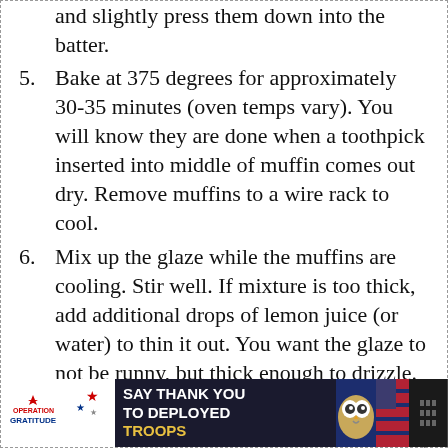(continuation) chocolate chips to the top of the muffins, and slightly press them down into the batter.
5. Bake at 375 degrees for approximately 30-35 minutes (oven temps vary). You will know they are done when a toothpick inserted into middle of muffin comes out dry. Remove muffins to a wire rack to cool.
6. Mix up the glaze while the muffins are cooling. Stir well. If mixture is too thick, add additional drops of lemon juice (or water) to thin it out. You want the glaze to not be runny, but thick enough to drizzle. If you get it too thin, just add additional powdered sugar. Once the muffins have cooled off, drizzle the glaze over the top of the muffins. Let them sit for a few mo. minutes so the glaze can firm up, then
[Figure (screenshot): Advertisement banner for Operation Gratitude: 'SAY THANK YOU TO DEPLOYED TROOPS' with patriotic imagery and cartoon owl]